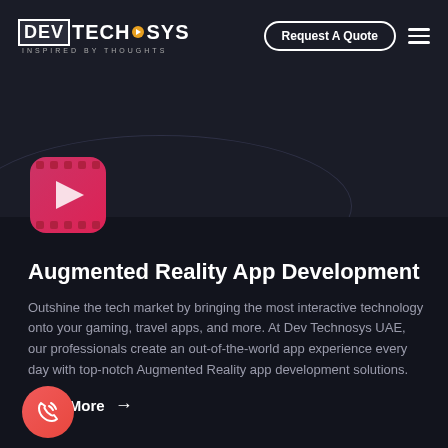DEV TECHNOSYS — INSPIRED BY THOUGHTS | Request A Quote
[Figure (logo): Dev Technosys logo with tagline 'Inspired By Thoughts' on dark header bar]
[Figure (illustration): Red/pink film reel AR icon with play button]
Augmented Reality App Development
Outshine the tech market by bringing the most interactive technology onto your gaming, travel apps, and more. At Dev Technosys UAE, our professionals create an out-of-the-world app experience every day with top-notch Augmented Reality app development solutions.
Read More →
[Figure (illustration): Red circular call/phone icon button]